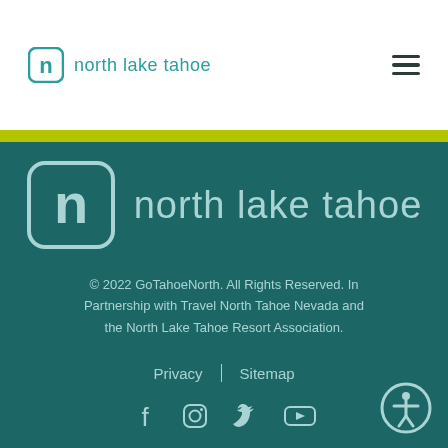north lake tahoe
[Figure (logo): North Lake Tahoe logo with icon and text on teal background]
© 2022 GoTahoeNorth. All Rights Reserved. In Partnership with Travel North Tahoe Nevada and the North Lake Tahoe Resort Association.
Privacy | Sitemap
[Figure (infographic): Social media icons: Facebook, Instagram, Twitter, YouTube]